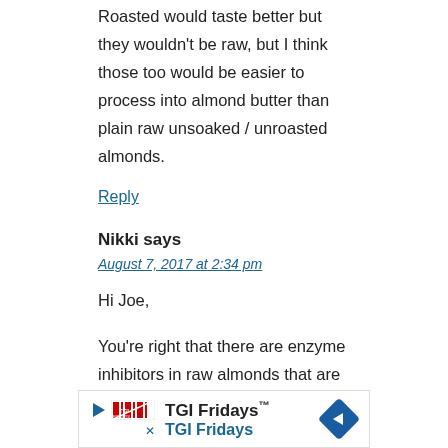Roasted would taste better but they wouldn't be raw, but I think those too would be easier to process into almond butter than plain raw unsoaked / unroasted almonds.
Reply
Nikki says
August 7, 2017 at 2:34 pm
Hi Joe,
You're right that there are enzyme inhibitors in raw almonds that are only removed by soaking or roasting.
I don't activate my almonds (soak them and then dehydrate them) before making this raw almond butter, even if it would be better nutritionally because it simply doesn't suit my
[Figure (other): TGI Fridays advertisement banner with play button, TGI Fridays logo, text 'TGI Fridays™ TGI Fridays' and a blue diamond-shaped arrow icon]